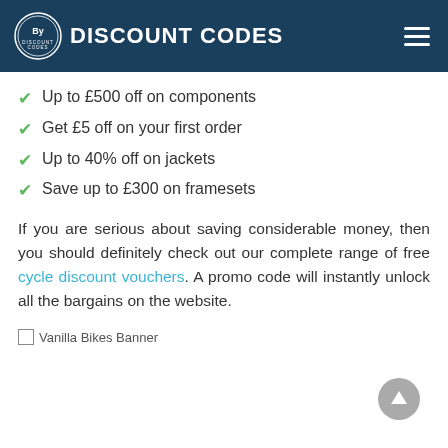DISCOUNT CODES
Up to £500 off on components
Get £5 off on your first order
Up to 40% off on jackets
Save up to £300 on framesets
If you are serious about saving considerable money, then you should definitely check out our complete range of free cycle discount vouchers. A promo code will instantly unlock all the bargains on the website.
[Figure (other): Vanilla Bikes Banner - broken image placeholder]